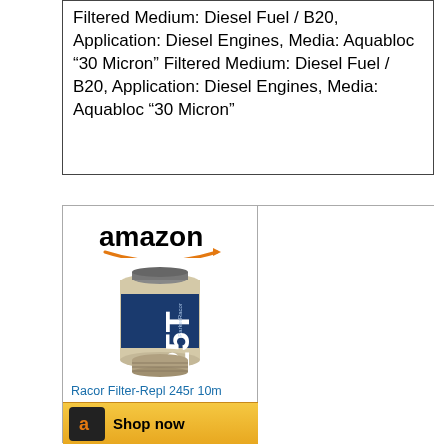Filtered Medium: Diesel Fuel / B20, Application: Diesel Engines, Media: Aquabloc “30 Micron” Filtered Medium: Diesel Fuel / B20, Application: Diesel Engines, Media: Aquabloc “30 Micron”
[Figure (screenshot): Amazon product listing card showing Racor Filter-Repl 245r 10m priced at $45.03 with a Shop now button. Includes Amazon logo, product image of R25T filter canister.]